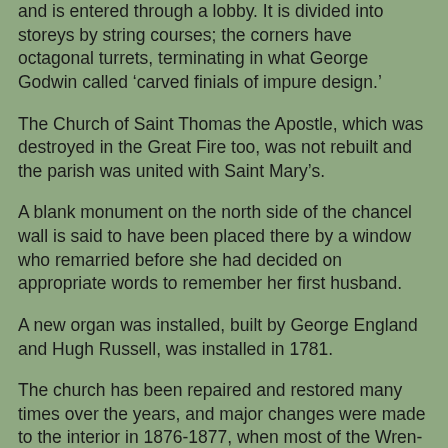and is entered through a lobby. It is divided into storeys by string courses; the corners have octagonal turrets, terminating in what George Godwin called ‘carved finials of impure design.’
The Church of Saint Thomas the Apostle, which was destroyed in the Great Fire too, was not rebuilt and the parish was united with Saint Mary’s.
A blank monument on the north side of the chancel wall is said to have been placed there by a window who remarried before she had decided on appropriate words to remember her first husband.
A new organ was installed, built by George England and Hugh Russell, was installed in 1781.
The church has been repaired and restored many times over the years, and major changes were made to the interior in 1876-1877, when most of the Wren-period furnishings were removed. A new oak screen was inserted, dividing the church from the lobby. The pews and stalls were replaced,